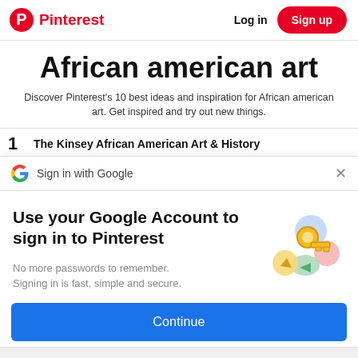Pinterest   Log in   Sign up
African american art
Discover Pinterest's 10 best ideas and inspiration for African american art. Get inspired and try out new things.
1  The Kinsey African American Art & History
[Figure (screenshot): Google Sign-in dialog overlay showing the Google 'G' logo and text 'Sign in with Google' in the header, followed by 'Use your Google Account to sign in to Pinterest', 'No more passwords to remember. Signing in is fast, simple and secure.', a colorful key illustration, and a blue 'Continue' button.]